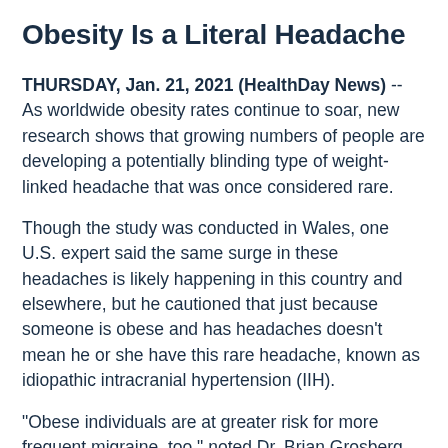Obesity Is a Literal Headache
THURSDAY, Jan. 21, 2021 (HealthDay News) -- As worldwide obesity rates continue to soar, new research shows that growing numbers of people are developing a potentially blinding type of weight-linked headache that was once considered rare.
Though the study was conducted in Wales, one U.S. expert said the same surge in these headaches is likely happening in this country and elsewhere, but he cautioned that just because someone is obese and has headaches doesn't mean he or she have this rare headache, known as idiopathic intracranial hypertension (IIH).
"Obese individuals are at greater risk for more frequent migraine, too," noted Dr. Brian Grosberg, director of the Hartford HealthCare Headache Center in Connecticut.